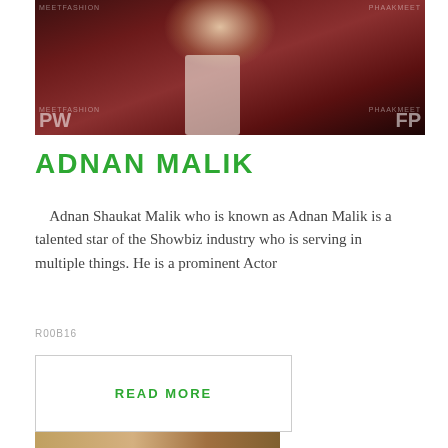[Figure (photo): Photo of Adnan Malik, a man in a dark maroon blazer standing in front of a branded backdrop with text 'PW' and 'FP' visible]
ADNAN MALIK
Adnan Shaukat Malik who is known as Adnan Malik is a talented star of the Showbiz industry who is serving in multiple things. He is a prominent Actor
R00B16
READ MORE
[Figure (photo): Partial photo at bottom of page, cropped]